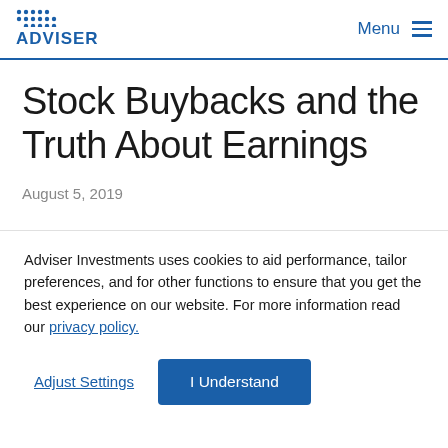ADVISER | Menu
Stock Buybacks and the Truth About Earnings
August 5, 2019
Adviser Investments uses cookies to aid performance, tailor preferences, and for other functions to ensure that you get the best experience on our website. For more information read our privacy policy.
Adjust Settings | I Understand